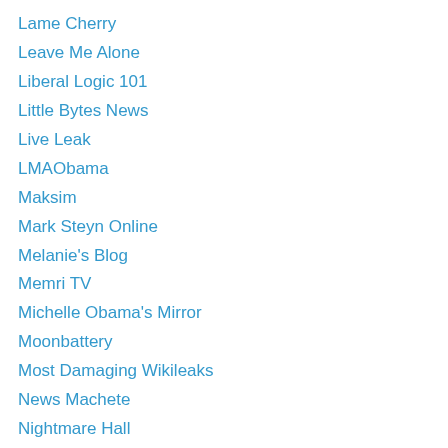Lame Cherry
Leave Me Alone
Liberal Logic 101
Little Bytes News
Live Leak
LMAObama
Maksim
Mark Steyn Online
Melanie's Blog
Memri TV
Michelle Obama's Mirror
Moonbattery
Most Damaging Wikileaks
News Machete
Nightmare Hall
Noisy Room
Nox & Friends
Outside the Camp
Patriot Dreams
Political Palaver